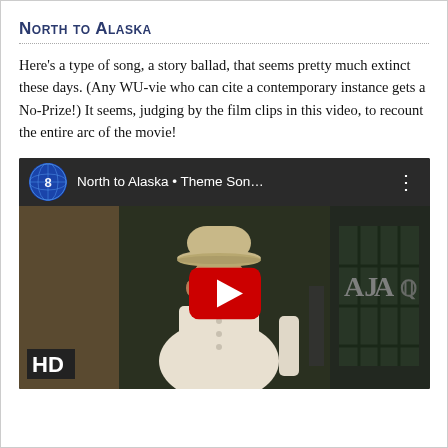North to Alaska
Here's a type of song, a story ballad, that seems pretty much extinct these days. (Any WU-vie who can cite a contemporary instance gets a No-Prize!) It seems, judging by the film clips in this video, to recount the entire arc of the movie!
[Figure (screenshot): YouTube video thumbnail showing 'North to Alaska • Theme Son...' with a man in a cowboy hat and a red YouTube play button overlay]